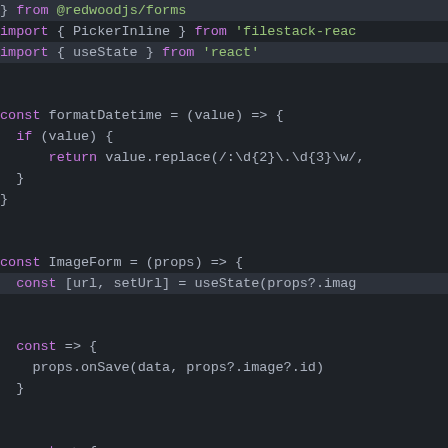[Figure (screenshot): Code editor screenshot showing JavaScript/React code with syntax highlighting on a dark background. Code includes import statements, formatDatetime function, and ImageForm component with useState, onSubmit, and onFileUpload handlers.]